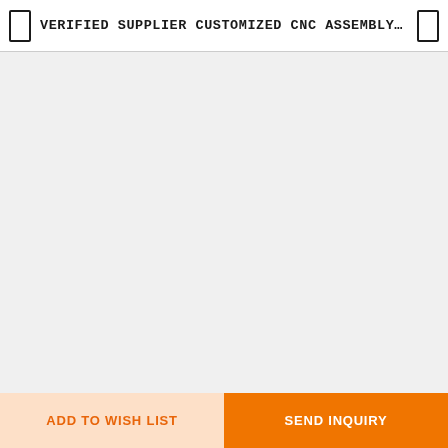VERIFIED SUPPLIER CUSTOMIZED CNC ASSEMBLY ...
[Figure (other): Large empty product image area with light gray background]
ADD TO WISH LIST
SEND INQUIRY